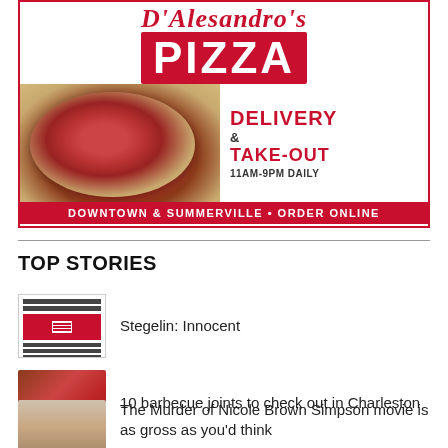[Figure (illustration): D'Alesandro's Pizza advertisement showing pizza image, delivery and take-out info, hours 11AM-9PM Daily, Downtown & Summerville, Order Online]
TOP STORIES
Stegelin: Innocent
10 barbecue joints to check out in Charleston
The Murder of Nicole Brown Simpson movie is as gross as you'd think